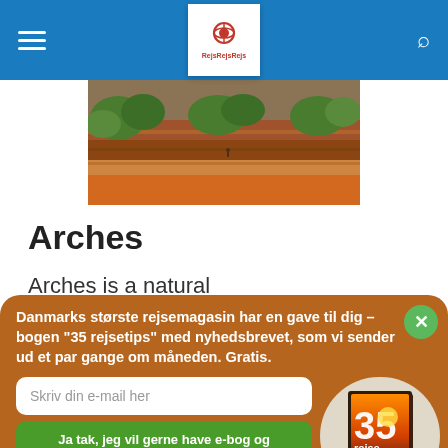ReJsRejsRejs header navigation
[Figure (photo): Red rock canyon landscape with green trees and layered sandstone cliffs, viewed from above — Arches National Park hero image]
Arches
Arches is a natural phenomenon in the category
Danmarks største rejsemagasin har en gave til dig – bogen "35 rejsetips" med nyhedsbrevet, som vi sender ud et par gange om måneden. Gratis.
Skriv din e-mail her
Ja tak, jeg vil gerne have e-bog og nyhedsbrev
[Figure (photo): Book cover showing '35 rejse-tips' with warm sunset background]